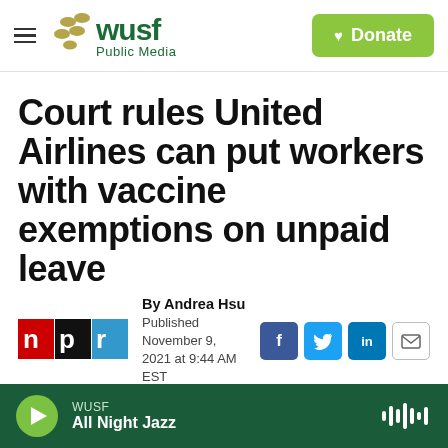WUSF Public Media — Donate
Court rules United Airlines can put workers with vaccine exemptions on unpaid leave
By Andrea Hsu
Published November 9, 2021 at 9:44 AM EST
[Figure (logo): NPR logo — red, black, and blue rectangles with letters n, p, r]
[Figure (screenshot): Social share icons: Facebook (blue), Twitter (blue), LinkedIn (blue), Email (outline)]
[Figure (photo): Partial dark image strip at bottom of article area]
WUSF
All Night Jazz